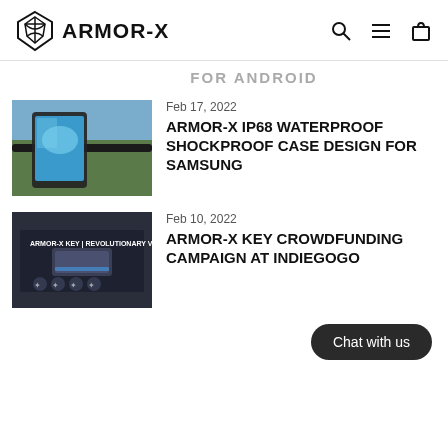ARMOR-X
FOR ANDROID
[Figure (photo): Phone mounted on bicycle handlebar with ARMOR-X waterproof case]
Feb 17, 2022
ARMOR-X IP68 WATERPROOF SHOCKPROOF CASE DESIGN FOR SAMSUNG
[Figure (photo): ARMOR-X KEY product box with multiple feature icons]
Feb 10, 2022
ARMOR-X KEY CROWDFUNDING CAMPAIGN AT INDIEGOGO
Chat with us